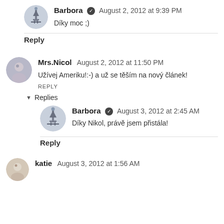Barbora ✓ August 2, 2012 at 9:39 PM
Díky moc ;)
Reply
Mrs.Nicol August 2, 2012 at 11:50 PM
Užívej Ameriku!:-) a už se těším na nový článek!
REPLY
▾ Replies
Barbora ✓ August 3, 2012 at 2:45 AM
Díky Nikol, právě jsem přistála!
Reply
katie August 3, 2012 at 1:56 AM